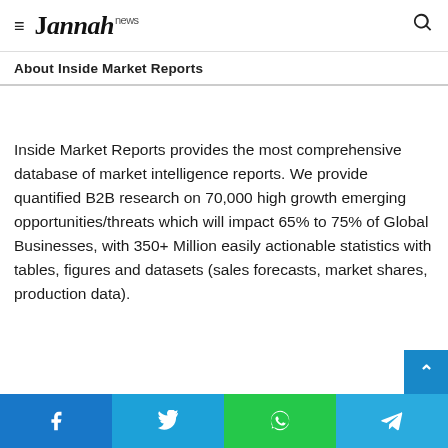≡ Jannah news [search icon]
About Inside Market Reports
Inside Market Reports provides the most comprehensive database of market intelligence reports. We provide quantified B2B research on 70,000 high growth emerging opportunities/threats which will impact 65% to 75% of Global Businesses, with 350+ Million easily actionable statistics with tables, figures and datasets (sales forecasts, market shares, production data).
Facebook | Twitter | WhatsApp | Telegram